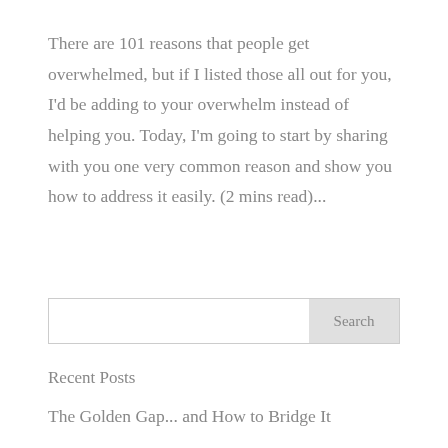There are 101 reasons that people get overwhelmed, but if I listed those all out for you, I'd be adding to your overwhelm instead of helping you. Today, I'm going to start by sharing with you one very common reason and show you how to address it easily. (2 mins read)...
Search
Recent Posts
The Golden Gap... and How to Bridge It